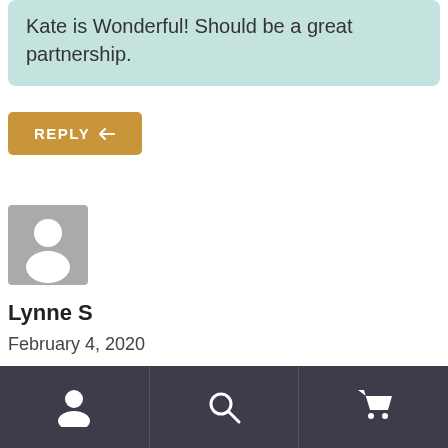Kate is Wonderful! Should be a great partnership.
REPLY
[Figure (illustration): Default user avatar placeholder — grey square with white silhouette of a person]
Lynne S
February 4, 2020
Navigation bar with user, search, and cart icons